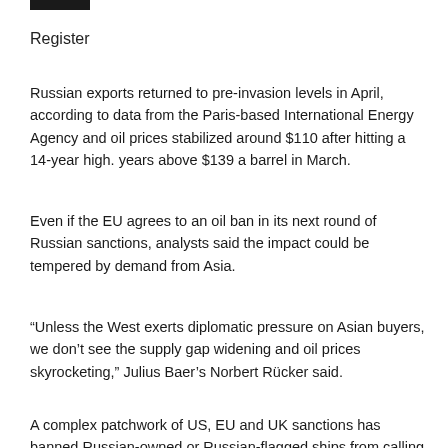Register
Russian exports returned to pre-invasion levels in April, according to data from the Paris-based International Energy Agency and oil prices stabilized around $110 after hitting a 14-year high. years above $139 a barrel in March.
Even if the EU agrees to an oil ban in its next round of Russian sanctions, analysts said the impact could be tempered by demand from Asia.
“Unless the West exerts diplomatic pressure on Asian buyers, we don’t see the supply gap widening and oil prices skyrocketing,” Julius Baer’s Norbert Rücker said.
A complex patchwork of US, EU and UK sanctions has banned Russian-owned or Russian-flagged ships from calling at ports, meaning some of the increased trade to